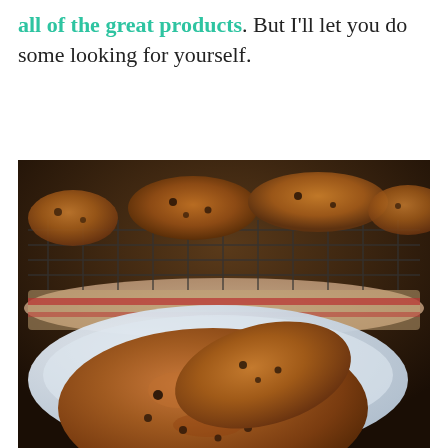I could go on and on about all of the great products. But I'll let you do some looking for yourself.
[Figure (photo): Close-up photo of large chocolate chip cookies on a wire cooling rack in the background, with one or two cookies on a white plate/dish in the foreground. The cookies appear dark brown and textured.]